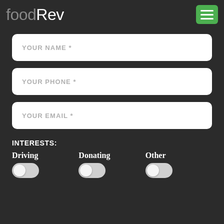foodRev
YOUR NAME *
YOUR PHONE *
YOUR EMAIL *
INTERESTS:
Driving
Donating
Other